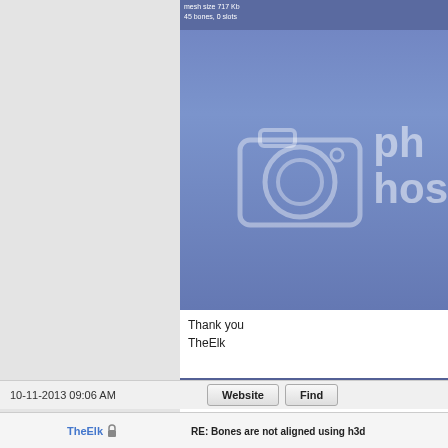[Figure (screenshot): A blue placeholder image panel showing a camera icon outline and partial text 'ph hos' on a blue gradient background. Top bar shows text about mesh size and bones/slots. Bottom bar shows editing controls: Vertex, Done, Position, Normal, Tangent, Binormal, TexCoord, Skip.]
Thank you
TheElk
10-11-2013 09:06 AM
Website
Find
RE: Bones are not aligned using h3d